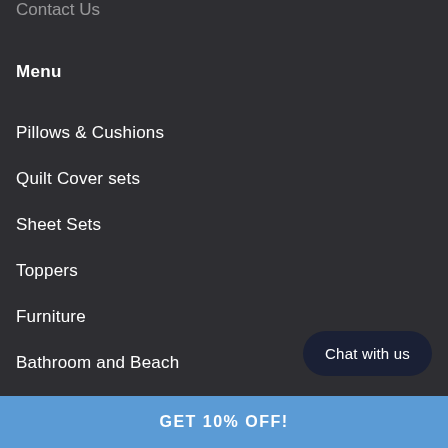Contact Us
Menu
Pillows & Cushions
Quilt Cover sets
Sheet Sets
Toppers
Furniture
Bathroom and Beach
Chat with us
GET 10% OFF!